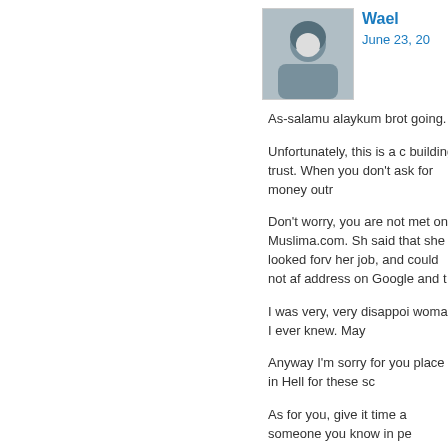[Figure (photo): Avatar photo of a person wearing a hijab, partially visible]
Wael
June 23, 20
As-salamu alaykum brot going.
Unfortunately, this is a c building trust. When you don't ask for money outr
Don't worry, you are not met on Muslima.com. Sh said that she looked forv her job, and could not af address on Google and t
I was very, very disappoi woman I ever knew. May
Anyway I'm sorry for you place in Hell for these sc
As for you, give it time a someone you know in pe
Wael
IslamicAnswers.com Edi